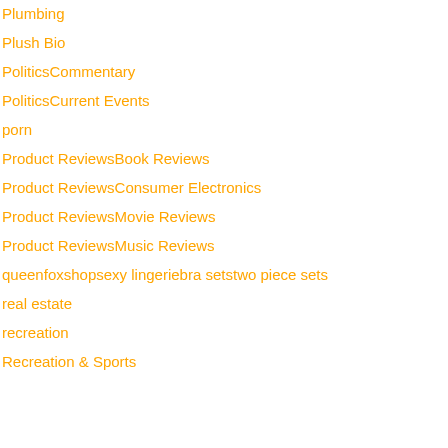Plumbing
Plush Bio
PoliticsCommentary
PoliticsCurrent Events
porn
Product ReviewsBook Reviews
Product ReviewsConsumer Electronics
Product ReviewsMovie Reviews
Product ReviewsMusic Reviews
queenfoxshopsexy lingeriebra setstwo piece sets
real estate
recreation
Recreation & Sports